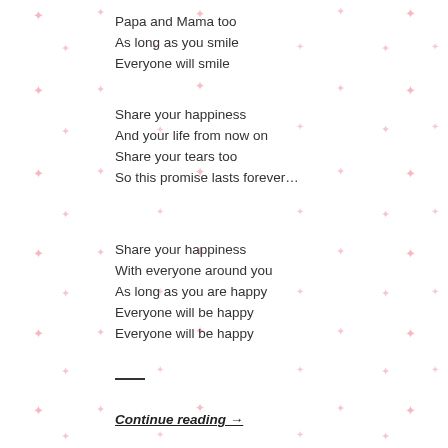Papa and Mama too
As long as you smile
Everyone will smile
Share your happiness
And your life from now on
Share your tears too
So this promise lasts forever…
Share your happiness
With everyone around you
As long as you are happy
Everyone will be happy
Everyone will be happy
———
Continue reading →